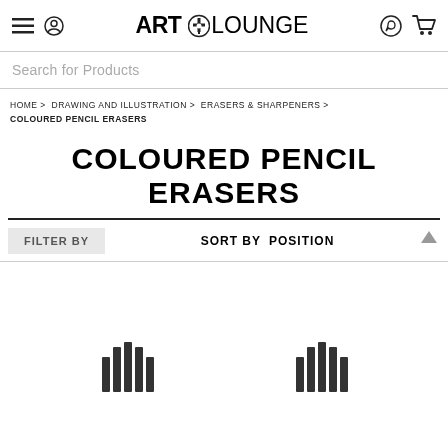ART LOUNGE
Search for Products
HOME > DRAWING AND ILLUSTRATION > ERASERS & SHARPENERS > COLOURED PENCIL ERASERS
COLOURED PENCIL ERASERS
FILTER BY   SORT BY  POSITION
[Figure (illustration): Two product loading skeleton/placeholder icons at the bottom of the page, represented as bar chart-like loading indicators]